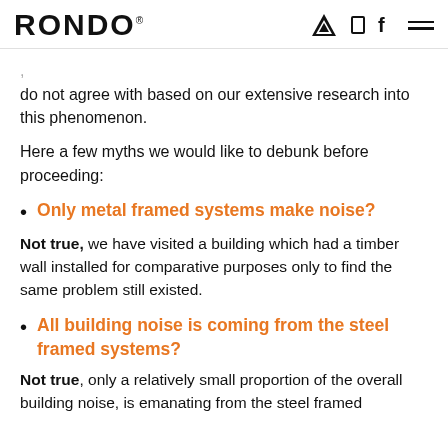RONDO
do not agree with based on our extensive research into this phenomenon.
Here a few myths we would like to debunk before proceeding:
Only metal framed systems make noise?
Not true, we have visited a building which had a timber wall installed for comparative purposes only to find the same problem still existed.
All building noise is coming from the steel framed systems?
Not true, only a relatively small proportion of the overall building noise, is emanating from the steel framed